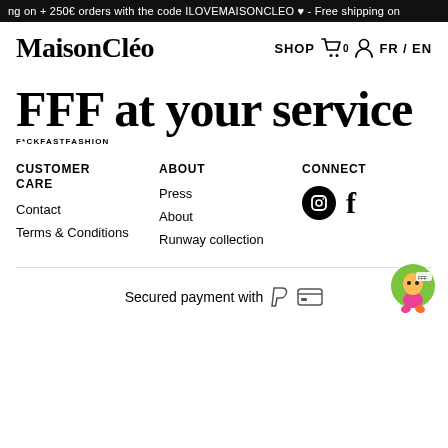ng on + 250€ orders with the code ILOVEMAISONCLEO ♥ - Free shipping on
MaisonCléo
SHOP 0 FR / EN
FFF at your service
F*CKFASTFASHION
CUSTOMER CARE
Contact
Terms & Conditions
ABOUT
Press
About
Runway collection
CONNECT
Secured payment with
[Figure (logo): Circular mascot illustration — green circle with pink/red cartoon character]